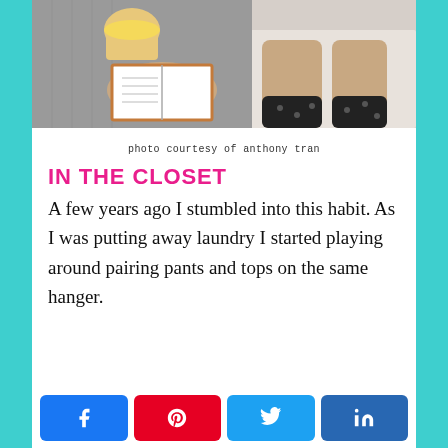[Figure (photo): Overhead photo of a person sitting on a bed holding a coffee cup and reading an open book, wearing a grey knit sweater, with legs visible wearing black patterned socks on white bedding.]
photo courtesy of anthony tran
IN THE CLOSET
A few years ago I stumbled into this habit. As I was putting away laundry I started playing around pairing pants and tops on the same hanger.
[Figure (other): Social share buttons: Facebook (blue), Pinterest (red), Twitter (light blue), LinkedIn (dark blue)]